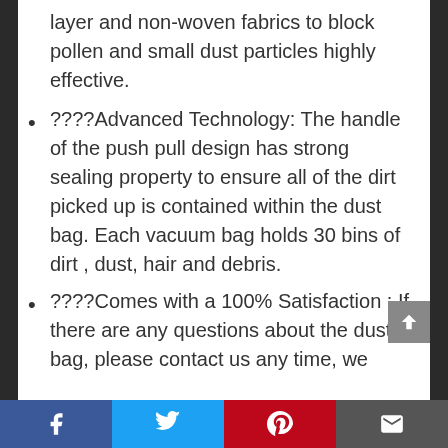layer and non-woven fabrics to block pollen and small dust particles highly effective.
????Advanced Technology: The handle of the push pull design has strong sealing property to ensure all of the dirt picked up is contained within the dust bag. Each vacuum bag holds 30 bins of dirt , dust, hair and debris.
????Comes with a 100% Satisfaction : If there are any questions about the dust bag, please contact us any time, we